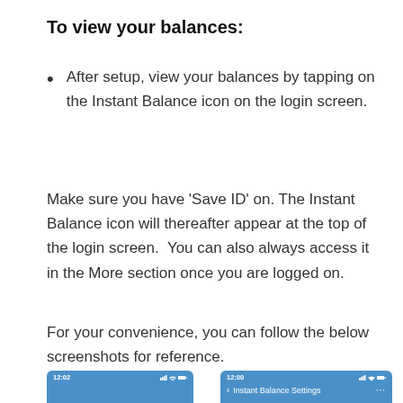To view your balances:
After setup, view your balances by tapping on the Instant Balance icon on the login screen.
Make sure you have ‘Save ID’ on. The Instant Balance icon will thereafter appear at the top of the login screen.  You can also always access it in the More section once you are logged on.
For your convenience, you can follow the below screenshots for reference.
[Figure (screenshot): Two mobile phone screenshots showing the Instant Balance feature: left screenshot shows time 12:02 with a blue status bar; right screenshot shows time 12:00 with Instant Balance Settings screen.]